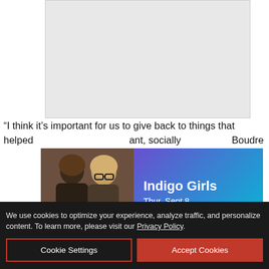[Figure (photo): Gray placeholder image rectangle at the top center of the page]
“I think it’s important for us to give back to things that helped [us] ... ant, socially ... Boudre[aux]
[Figure (infographic): Indigo Girls event card showing two women (photo on left) and teal/purple gradient panel on right with text 'Indigo Girls' and 'Thur, Sept 8']
We use cookies to optimize your experience, analyze traffic, and personalize content. To learn more, please visit our Privacy Policy.
Cookie Settings
Accept Cookies